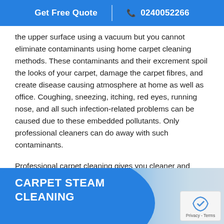Get Free Quote  0240052266
the upper surface using a vacuum but you cannot eliminate contaminants using home carpet cleaning methods. These contaminants and their excrement spoil the looks of your carpet, damage the carpet fibres, and create disease causing atmosphere at home as well as office. Coughing, sneezing, itching, red eyes, running nose, and all such infection-related problems can be caused due to these embedded pollutants. Only professional cleaners can do away with such contaminants.
Professional carpet cleaning gives you cleaner and healthier carpet. It also adds to the life of the carpet. It makes your home/office look more beautiful by enhancing the decor. By choosing Sams Cleaning Cambridge Park you get 100% guaranteed carpet cleaning services to keep your carpets cleaner, shinier, brighter, softer, and healthier for a long time.
[Figure (photo): Carpet steam cleaning promotional banner with blue background and image of cleaning equipment on the right. Text reads CARPET STEAM CLEANING in white bold letters.]